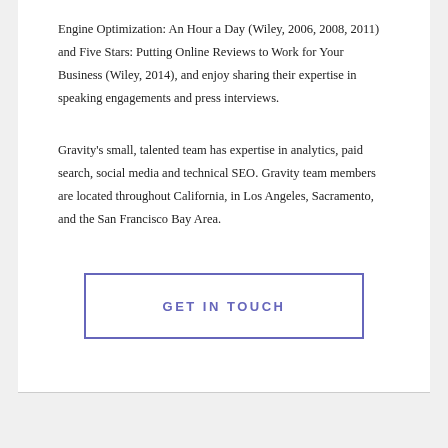Engine Optimization: An Hour a Day (Wiley, 2006, 2008, 2011) and Five Stars: Putting Online Reviews to Work for Your Business (Wiley, 2014), and enjoy sharing their expertise in speaking engagements and press interviews.
Gravity's small, talented team has expertise in analytics, paid search, social media and technical SEO. Gravity team members are located throughout California, in Los Angeles, Sacramento, and the San Francisco Bay Area.
[Figure (other): A rectangular outlined button with the text GET IN TOUCH in purple uppercase letters]